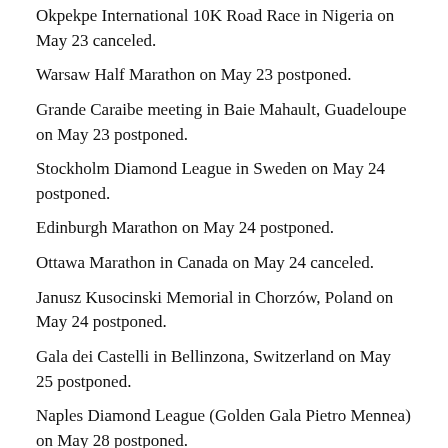Okpekpe International 10K Road Race in Nigeria on May 23 canceled.
Warsaw Half Marathon on May 23 postponed.
Grande Caraibe meeting in Baie Mahault, Guadeloupe on May 23 postponed.
Stockholm Diamond League in Sweden on May 24 postponed.
Edinburgh Marathon on May 24 postponed.
Ottawa Marathon in Canada on May 24 canceled.
Janusz Kusocinski Memorial in Chorzów, Poland on May 24 postponed.
Gala dei Castelli in Bellinzona, Switzerland on May 25 postponed.
Naples Diamond League (Golden Gala Pietro Mennea) on May 28 postponed.